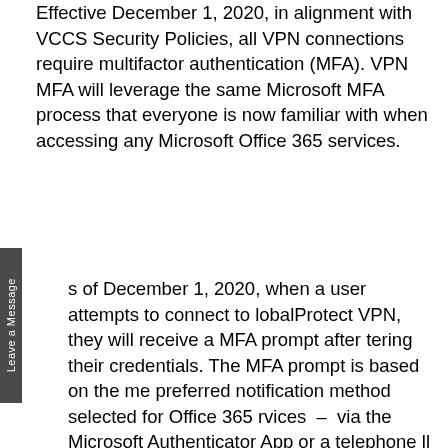Effective December 1, 2020, in alignment with VCCS Security Policies, all VPN connections require multifactor authentication (MFA). VPN MFA will leverage the same Microsoft MFA process that everyone is now familiar with when accessing any Microsoft Office 365 services.
s of December 1, 2020, when a user attempts to connect to lobalProtect VPN, they will receive a MFA prompt after tering their credentials. The MFA prompt is based on the me preferred notification method selected for Office 365 rvices – via the Microsoft Authenticator App or a telephone ll to designated phone number. GlobalProtect VPN users will also be prompted to download and install the latest client version -- GlobalProtect 5.1.7.
If you are a VIP VPN user who is currently using Cisco AnyConnect VPN, you should transition to Palo Alto GlobalProtect VPN client no later than January 5, 2021. You can check to see if you already have the GlobalProtect VPN client installed on your NVCC-issued laptop by following the attached directions. If you do not have the GlobalProtect VPN installed, please contact the IT Help Desk for your Campus IT